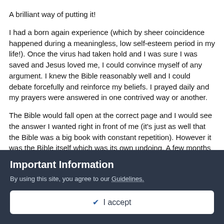A brilliant way of putting it!
I had a born again experience (which by sheer coincidence happened during a meaningless, low self-esteem period in my life!). Once the virus had taken hold and I was sure I was saved and Jesus loved me, I could convince myself of any argument. I knew the Bible reasonably well and I could debate forcefully and reinforce my beliefs. I prayed daily and my prayers were answered in one contrived way or another.
The Bible would fall open at the correct page and I would see the answer I wanted right in front of me (it's just as well that the Bible was a big book with constant repetition). However it was the Bible itself which was its own undoing. A few months into my Christian phase I began to find passages in the Bible that I thought...
Important Information
By using this site, you agree to our Guidelines.
✔ I accept